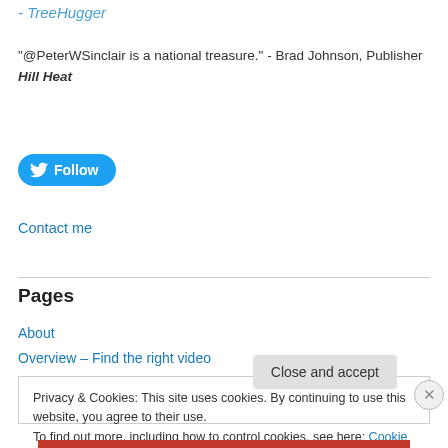- TreeHugger
"@PeterWSinclair is a national treasure." - Brad Johnson, Publisher Hill Heat
[Figure (other): Twitter Follow button (blue rounded rectangle with bird icon and Follow text)]
Contact me
Pages
About
Overview – Find the right video
Privacy & Cookies: This site uses cookies. By continuing to use this website, you agree to their use.
To find out more, including how to control cookies, see here: Cookie Policy
Close and accept